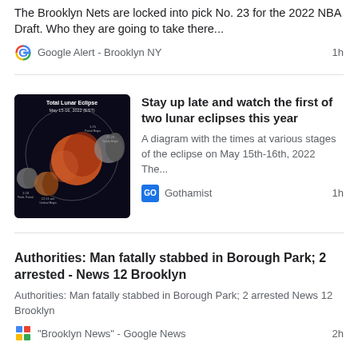The Brooklyn Nets are locked into pick No. 23 for the 2022 NBA Draft. Who they are going to take there...
Google Alert - Brooklyn NY  1h
Stay up late and watch the first of two lunar eclipses this year
A diagram with the times at various stages of the eclipse on May 15th-16th, 2022 The...
Gothamist  1h
[Figure (photo): Total Lunar Eclipse May 15-16, 2022 diagram showing moon phases in red/orange tones on black background]
Authorities: Man fatally stabbed in Borough Park; 2 arrested - News 12 Brooklyn
Authorities: Man fatally stabbed in Borough Park; 2 arrested  News 12 Brooklyn
"Brooklyn News" - Google News  2h